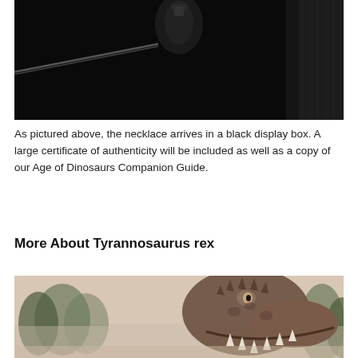[Figure (photo): Close-up photo of a necklace pendant against a black background, showing a dark clasp or pendant detail with a rope or cord visible]
As pictured above, the necklace arrives in a black display box. A large certificate of authenticity will be included as well as a copy of our Age of Dinosaurs Companion Guide.
More About Tyrannosaurus rex
[Figure (photo): Illustration or CGI rendering of a Tyrannosaurus rex with mouth open showing teeth, surrounded by trees and a misty background]